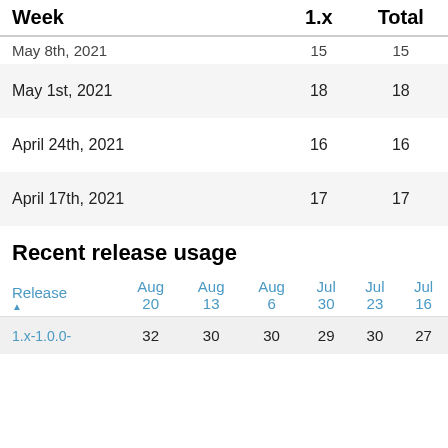| Week | 1.x | Total |
| --- | --- | --- |
| May 8th, 2021 | 15 | 15 |
| May 1st, 2021 | 18 | 18 |
| April 24th, 2021 | 16 | 16 |
| April 17th, 2021 | 17 | 17 |
Recent release usage
| Release ▲ | Aug 20 | Aug 13 | Aug 6 | Jul 30 | Jul 23 | Jul 16 |
| --- | --- | --- | --- | --- | --- | --- |
| 1.x-1.0.0- | 32 | 30 | 30 | 29 | 30 | 27 |